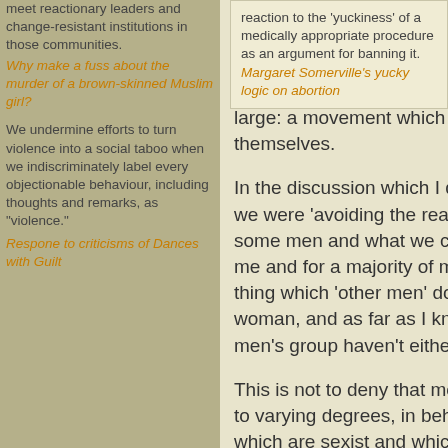meet reactionary leaders and change-resistant institutions in those communities.
Why make a fuss about the murder of a brown-skinned Muslim girl?
We undermine efforts to turn violence into a social taboo when we indiscriminately label every objectionable behaviour, including thoughts and remarks, as "violence."
Respone to criticisms of Dances with Guilt
clearheaded analysis is something which one encounters repeatedly in the men's movement – and by no means only in the men's movement. I believe it undermines efforts to build a movement which is effective in reaching out to men in society at large: a movement which is more than the converted talking to themselves.
In the discussion which I described above, I don't believe that we were 'avoiding the real issue' by talking about the violence of some men and what we could do about it. The fact is that – for me and for a majority of men – violence against women is a thing which 'other men' do. I have never been violent towards a woman, and as far as I know most of the other men in that men's group haven't either.
This is not to deny that most men, including myself, participate, to varying degrees, in behaviours, attitudes, and structures which are sexist and which need to be
reaction to the 'yuckiness' of a medically appropriate procedure as an argument for banning it.
Margaret Somerville's yucky logic on abortion